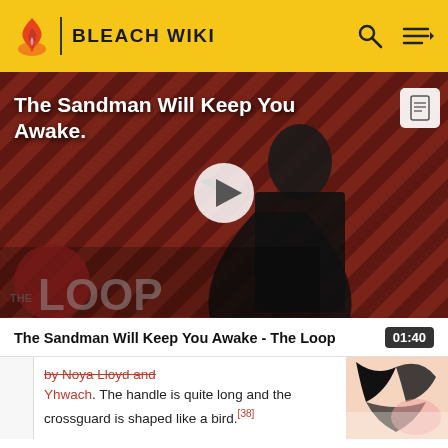BLEACH WIKI
[Figure (screenshot): Video thumbnail for 'The Sandman Will Keep You Awake - The Loop' showing a dark figure in a black cloak on a red/black diagonal striped background, with a play button overlay and THE LOOP badge.]
The Sandman Will Keep You Awake - The Loop   01:40
by Noya Lloyd and Yhwach. The handle is quite long and the crossguard is shaped like a bird.[38]
[Figure (illustration): Small thumbnail image showing a black and white/pink anime illustration.]